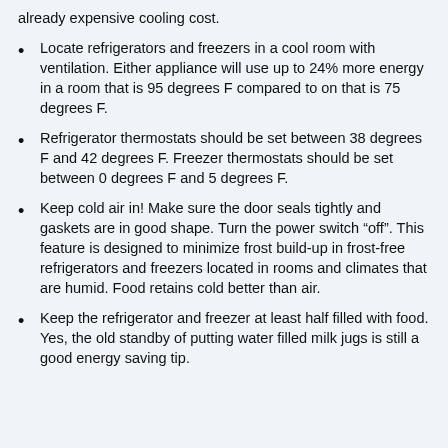already expensive cooling cost.
Locate refrigerators and freezers in a cool room with ventilation. Either appliance will use up to 24% more energy in a room that is 95 degrees F compared to on that is 75 degrees F.
Refrigerator thermostats should be set between 38 degrees F and 42 degrees F. Freezer thermostats should be set between 0 degrees F and 5 degrees F.
Keep cold air in! Make sure the door seals tightly and gaskets are in good shape. Turn the power switch “off”. This feature is designed to minimize frost build-up in frost-free refrigerators and freezers located in rooms and climates that are humid. Food retains cold better than air.
Keep the refrigerator and freezer at least half filled with food. Yes, the old standby of putting water filled milk jugs is still a good energy saving tip.